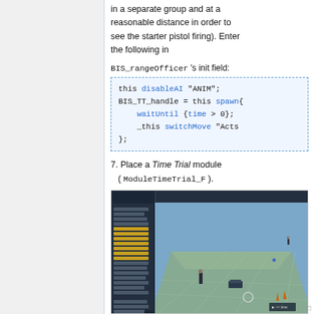in a separate group and at a reasonable distance in order to see the starter pistol firing). Enter the following in
BIS_rangeOfficer 's init field:
7. Place a Time Trial module ( ModuleTimeTrial_F ).
[Figure (screenshot): Game editor screenshot showing a CP (checkpoint) setup with a 3D terrain view featuring a figure, vehicle, and cone markers on a ground plane, alongside a sidebar panel with yellow-highlighted rows.]
Start CP setup